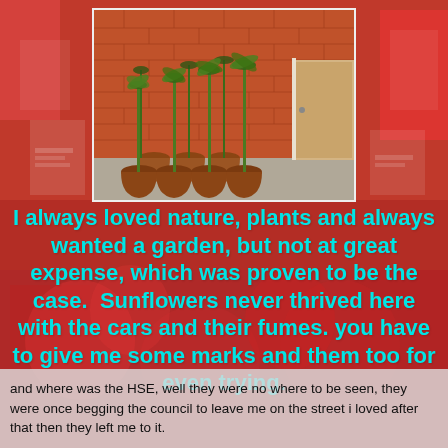[Figure (photo): Photograph of multiple terracotta plant pots with tall seedlings (likely pepper or tomato plants) lined up against a red brick wall beside a door.]
I always loved nature, plants and always wanted a garden, but not at great expense, which was proven to be the case.  Sunflowers never thrived here with the cars and their fumes. you have to give me some marks and them too for even trying.
and where was the HSE, well they were no where to be seen, they were once begging the council to leave me on the street i loved after that then they left me to it.